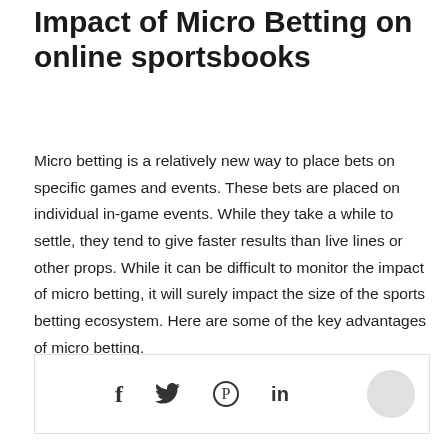Impact of Micro Betting on online sportsbooks
Micro betting is a relatively new way to place bets on specific games and events. These bets are placed on individual in-game events. While they take a while to settle, they tend to give faster results than live lines or other props. While it can be difficult to monitor the impact of micro betting, it will surely impact the size of the sports betting ecosystem. Here are some of the key advantages of micro betting.
[Figure (other): Social share bar with Facebook, Twitter, Pinterest, and LinkedIn icons]